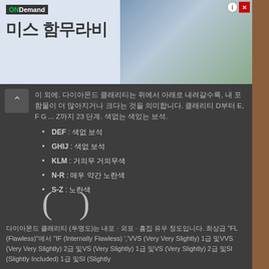[Figure (screenshot): ONDemand advertisement banner showing Korean drama 미스 함무라비 with two actors]
이 외에. 다이아몬드 클래리티는 위에서 아래로 내려갈수록, 내 포함물이 더 많아지거나 크다는 것을 의미합니다. 클래리티 D부터 E, F G ... Z까지 23 단계. 색없는 색있는 보석.
DEF : 색없 보석
GHIJ : 색없 보석
KLM : 거의무 거의무색
N-R : 매우 약간 노란색
S-Z : 노란색
[Figure (illustration): Large parentheses symbols ( )]
다이아몬드 클래리티 (투명도)는 내포 · 외포 · 흠집 유무 정도입니다. 최상급 "FL (Flawless)"에서 "IF (Internally Flawless) ','VVS (Very Very Slightly) 1급 및VVS (Very Very Slightly) 2급 및VS (Very Slightly) 1급 및VS (Very Slightly) 2급 및SI (Slightly Included) 1급 및SI (Slightly